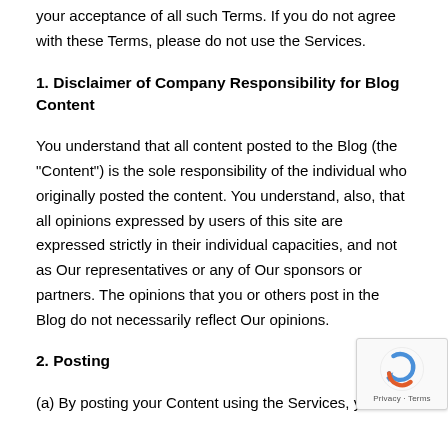your acceptance of all such Terms. If you do not agree with these Terms, please do not use the Services.
1. Disclaimer of Company Responsibility for Blog Content
You understand that all content posted to the Blog (the “Content”) is the sole responsibility of the individual who originally posted the content. You understand, also, that all opinions expressed by users of this site are expressed strictly in their individual capacities, and not as Our representatives or any of Our sponsors or partners. The opinions that you or others post in the Blog do not necessarily reflect Our opinions.
2. Posting
(a) By posting your Content using the Services, you are